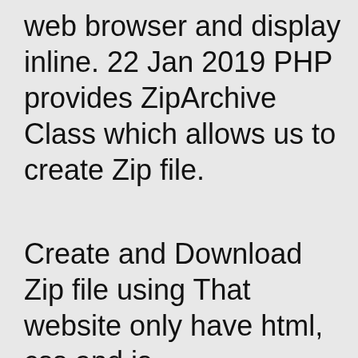web browser and display inline. 22 Jan 2019 PHP provides ZipArchive Class which allows us to create Zip file.
Create and Download Zip file using That website only have html, css and js